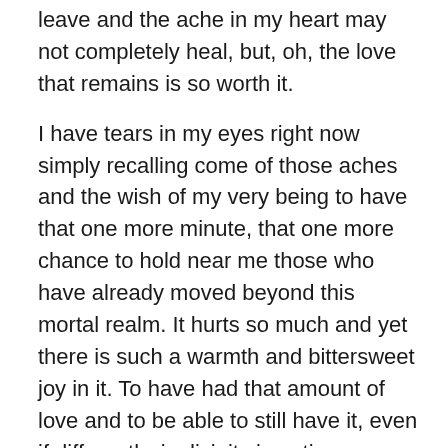leave and the ache in my heart may not completely heal, but, oh, the love that remains is so worth it.
I have tears in my eyes right now simply recalling come of those aches and the wish of my very being to have that one more minute, that one more chance to hold near me those who have already moved beyond this mortal realm. It hurts so much and yet there is such a warmth and bittersweet joy in it. To have had that amount of love and to be able to still have it, even if differently, is divinity in action.
When I embrace that kind of thought process, my heart lightens and lifts and knows that I am still capable and worthy of even more love.
The same goes for troubled and troubling times and situations. My heart can weight heavy, but when I take